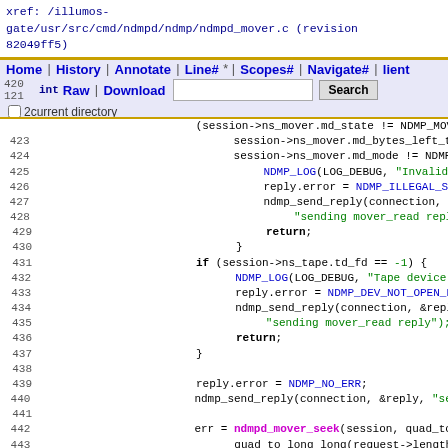xref: /illumos-gate/usr/src/cmd/ndmpd/ndmp/ndmpd_mover.c (revision 82049ff5)
Navigation bar: Home | History | Annotate | Line# | Scopes# | Navigate# | Raw | Download | Search
[Figure (screenshot): Source code viewer showing C code from ndmpd_mover.c, lines 420-444, with syntax highlighting. Keywords in bold, function names in magenta, strings in green, macros in blue.]